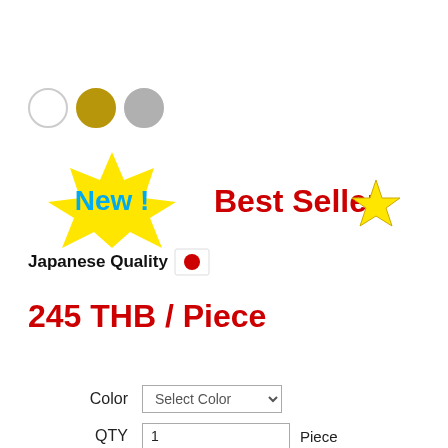[Figure (other): Three color swatches: white circle, gold/yellow circle, silver/grey circle]
[Figure (other): Yellow starburst badge with 'New !' in cyan text, and 'Best Seller' in red text with a yellow star emoji]
Japanese Quality 🇯🇵
245 THB / Piece
Color  [Select Color ▾]
QTY  [1]  Piece